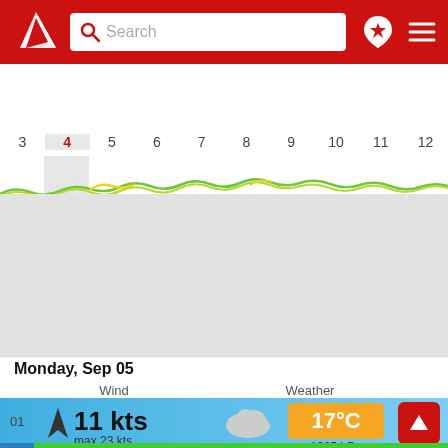[Figure (screenshot): App header with red background, logo, search bar, bookmark icon, and hamburger menu]
[Figure (continuous-plot): Horizontal timeline strip showing dates 3-12 with wind/weather chart bands in green, yellow, cyan, and blue colors. Day 4 is highlighted/active.]
[Figure (map): Gray map area background]
Monday, Sep 05
Wind
Weather
01  11 kts  max 23 kts  17°C  1005 hPa